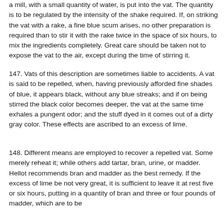a mill, with a small quantity of water, is put into the vat. The quantity is to be regulated by the intensity of the shake required. If, on striking the vat with a rake, a fine blue scum arises, no other preparation is required than to stir it with the rake twice in the space of six hours, to mix the ingredients completely. Great care should be taken not to expose the vat to the air, except during the time of stirring it.
147. Vats of this description are sometimes liable to accidents. A vat is said to be repelled, when, having previously afforded fine shades of blue, it appears black, without any blue streaks; and if on being stirred the black color becomes deeper, the vat at the same time exhales a pungent odor; and the stuff dyed in it comes out of a dirty gray color. These effects are ascribed to an excess of lime.
148. Different means are employed to recover a repelled vat. Some merely reheat it; while others add tartar, bran, urine, or madder. Hellot recommends bran and madder as the best remedy. If the excess of lime be not very great, it is sufficient to leave it at rest five or six hours, putting in a quantity of bran and three or four pounds of madder, which are to be